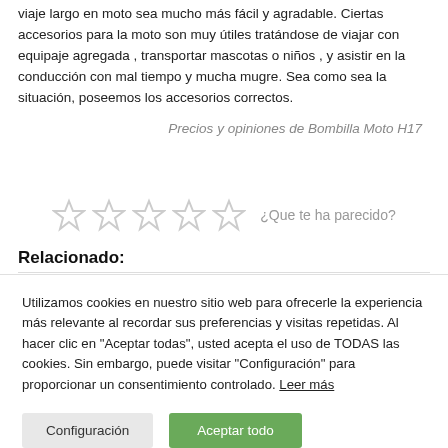viaje largo en moto sea mucho más fácil y agradable. Ciertas accesorios para la moto son muy útiles tratándose de viajar con equipaje agregada , transportar mascotas o niños , y asistir en la conducción con mal tiempo y mucha mugre. Sea como sea la situación, poseemos los accesorios correctos.
Precios y opiniones de Bombilla Moto H17
[Figure (other): Five empty star rating icons in a row with text '¿Que te ha parecido?']
Relacionado:
Utilizamos cookies en nuestro sitio web para ofrecerle la experiencia más relevante al recordar sus preferencias y visitas repetidas. Al hacer clic en "Aceptar todas", usted acepta el uso de TODAS las cookies. Sin embargo, puede visitar "Configuración" para proporcionar un consentimiento controlado. Leer más